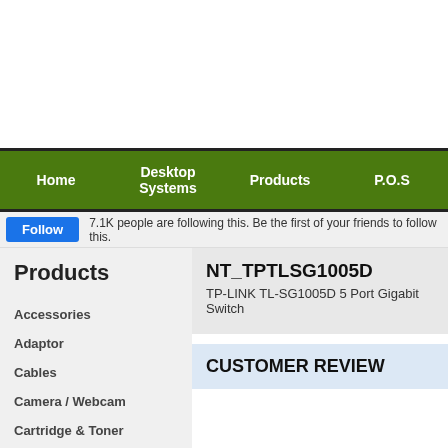Home | Desktop Systems | Products | P.O.S
Follow   7.1K people are following this. Be the first of your friends to follow this.
Products
Accessories
Adaptor
Cables
Camera / Webcam
Cartridge & Toner
Case
Cooling
NT_TPTLSG1005D
TP-LINK TL-SG1005D 5 Port Gigabit Switch
CUSTOMER REVIEW